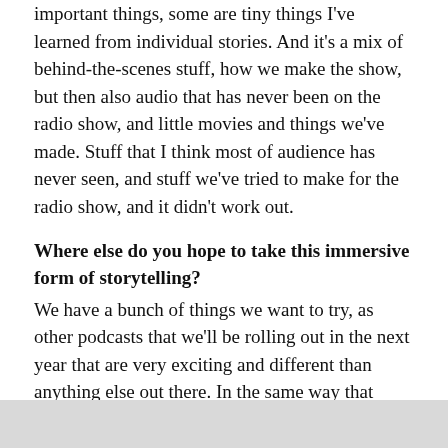important things, some are tiny things I've learned from individual stories. And it's a mix of behind-the-scenes stuff, how we make the show, but then also audio that has never been on the radio show, and little movies and things we've made. Stuff that I think most of audience has never seen, and stuff we've tried to make for the radio show, and it didn't work out.
Where else do you hope to take this immersive form of storytelling?
We have a bunch of things we want to try, as other podcasts that we'll be rolling out in the next year that are very exciting and different than anything else out there. In the same way that 'Serial' was a new way to do